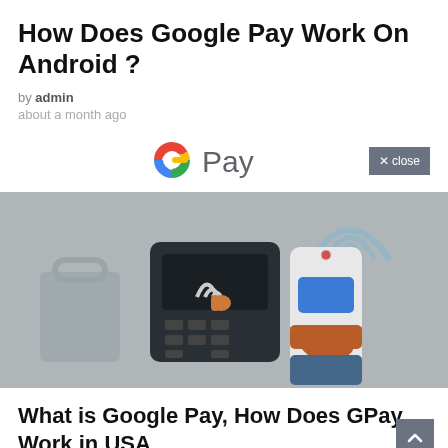How Does Google Pay Work On Android ?
by admin
about a month ago
[Figure (logo): Google Pay logo with the colorful G icon and 'Pay' text in grey]
[Figure (illustration): A hand holding a smartphone near a contactless payment terminal, with NFC signal waves shown. Grey/muted color scheme.]
What is Google Pay, How Does GPay Work in USA